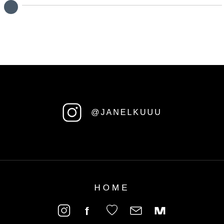[Figure (other): White top section with a dark circular avatar icon on the left and a horizontal gray line extending to the right]
@JANELKUUU
HOME
[Figure (other): Footer row with five social media icons: Instagram, Facebook, heart/like, envelope/mail, and Medium logo — all in white on black background]